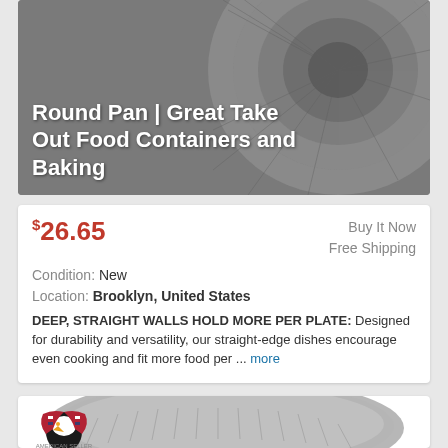[Figure (photo): Dark gray background product image showing aluminum round pan, partially cropped. Bold white text overlay reads 'Round Pan | Great Take Out Food Containers and Baking']
Round Pan | Great Take Out Food Containers and Baking
$26.65  Buy It Now  Free Shipping  Condition: New  Location: Brooklyn, United States
DEEP, STRAIGHT WALLS HOLD MORE PER PLATE: Designed for durability and versatility, our straight-edge dishes encourage even cooking and fit more food per ... more
[Figure (photo): Product listing card showing USA American Seller eagle logo badge in top left, and a white/silver aluminum round pan lid with ribbed edges and cross-section pattern on top, plus partial view of aluminum foil pan at bottom.]